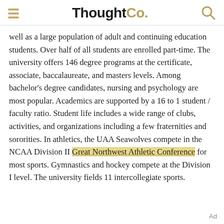ThoughtCo.
well as a large population of adult and continuing education students. Over half of all students are enrolled part-time. The university offers 146 degree programs at the certificate, associate, baccalaureate, and masters levels. Among bachelor's degree candidates, nursing and psychology are most popular. Academics are supported by a 16 to 1 student / faculty ratio. Student life includes a wide range of clubs, activities, and organizations including a few fraternities and sororities. In athletics, the UAA Seawolves compete in the NCAA Division II Great Northwest Athletic Conference for most sports. Gymnastics and hockey compete at the Division I level. The university fields 11 intercollegiate sports.
Ad